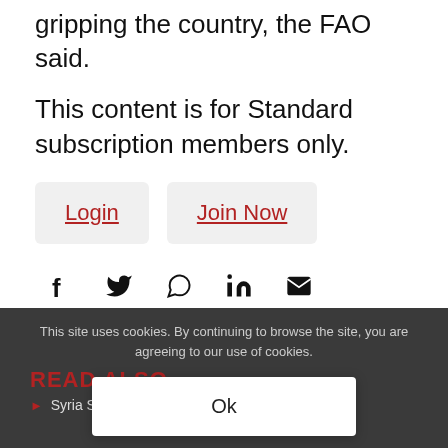gripping the country, the FAO said.
This content is for Standard subscription members only.
Login  |  Join Now
[Figure (infographic): Social share icons: Facebook, Twitter, WhatsApp, LinkedIn, Email]
This site uses cookies. By continuing to browse the site, you are agreeing to our use of cookies.
READ ALSO
▶ Syria Struggles to ... lisers for
Ok